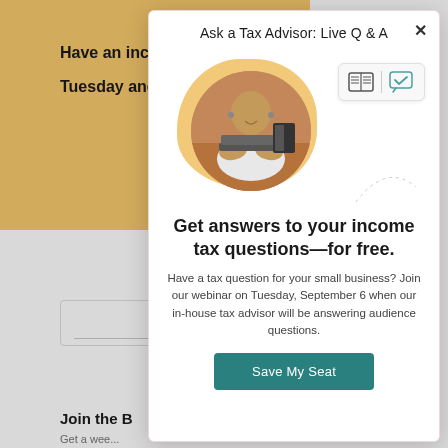Have an income tax question? Join us Tuesday and get answers for free.
Ask a Tax Advisor: Live Q & A
[Figure (photo): Man sitting at a desk working on a laptop, smiling, with tax advisor icons overlay]
Get answers to your income tax questions—for free.
Have a tax question for your small business? Join our webinar on Tuesday, September 6 when our in-house tax advisor will be answering audience questions.
Save My Seat
Join the B...
Get a weekly roundup... manage yo...
Subscribe